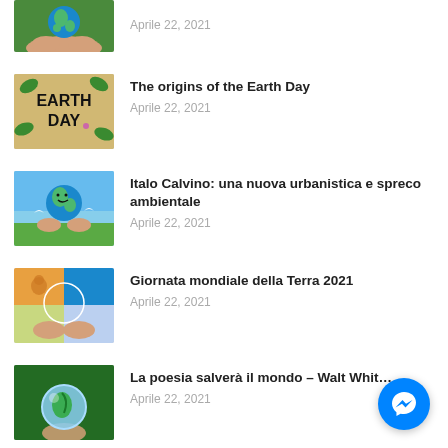[Figure (photo): Partial thumbnail at top: hands holding Earth globe on grass background]
Aprile 22, 2021
[Figure (photo): Earth Day sign with leaves and flowers]
The origins of the Earth Day
Aprile 22, 2021
[Figure (photo): Cartoon Earth with hands, doves and flowers]
Italo Calvino: una nuova urbanistica e spreco ambientale
Aprile 22, 2021
[Figure (photo): Split image of Earth climate zones in hands]
Giornata mondiale della Terra 2021
Aprile 22, 2021
[Figure (photo): Crystal globe with leaf on green background]
La poesia salverà il mondo – Walt Whit...
Aprile 22, 2021